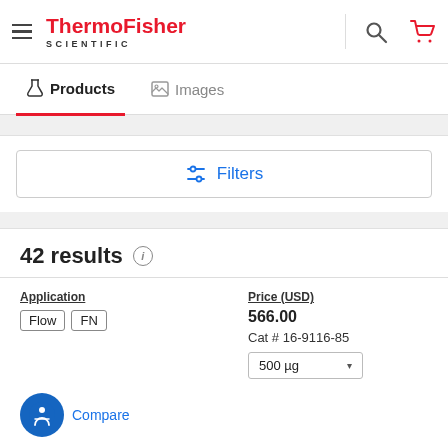[Figure (logo): ThermoFisher Scientific logo with hamburger menu, search icon, and cart icon in the header]
Products   Images
Filters
42 results
Application
Flow   FN
Price (USD)
566.00
Cat # 16-9116-85
500 µg
Compare